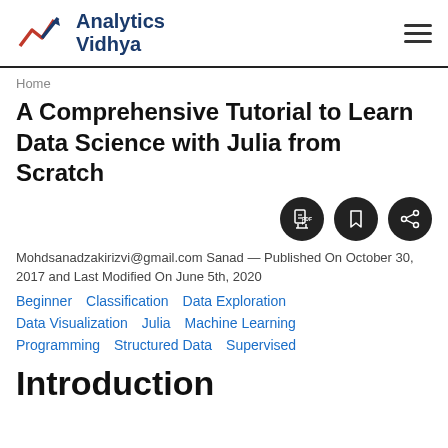[Figure (logo): Analytics Vidhya logo with stylized graph icon and text]
Home
A Comprehensive Tutorial to Learn Data Science with Julia from Scratch
[Figure (other): Three circular action buttons: PDF download, bookmark, and share]
Mohdsanadzakirizvi@gmail.com Sanad — Published On October 30, 2017 and Last Modified On June 5th, 2020
Beginner   Classification   Data Exploration   Data Visualization   Julia   Machine Learning   Programming   Structured Data   Supervised
Introduction